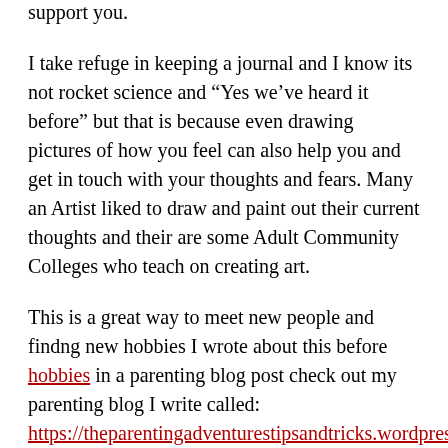You speak to someone who you can say how you feel, and not be held against you, but will support you.
I take refuge in keeping a journal and I know its not rocket science and “Yes we’ve heard it before” but that is because even drawing pictures of how you feel can also help you and get in touch with your thoughts and fears. Many an Artist liked to draw and paint out their current thoughts and their are some Adult Community Colleges who teach on creating art.
This is a great way to meet new people and findng new hobbies I wrote about this before hobbies in a parenting blog post check out my parenting blog I write called:
https://theparentingadventurestipsandtricks.wordpress.com
its never too young to learn something new so why not take up a hobby such as creating art and there are many online courses you can do too.